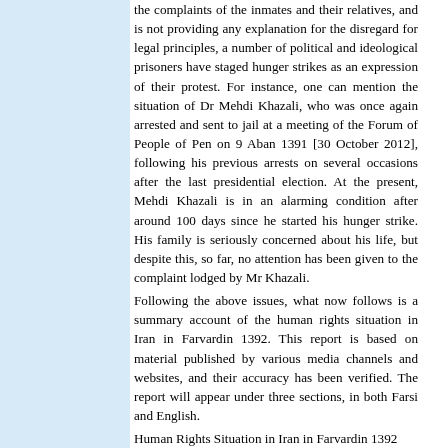the complaints of the inmates and their relatives, and is not providing any explanation for the disregard for legal principles, a number of political and ideological prisoners have staged hunger strikes as an expression of their protest. For instance, one can mention the situation of Dr Mehdi Khazali, who was once again arrested and sent to jail at a meeting of the Forum of People of Pen on 9 Aban 1391 [30 October 2012], following his previous arrests on several occasions after the last presidential election. At the present, Mehdi Khazali is in an alarming condition after around 100 days since he started his hunger strike. His family is seriously concerned about his life, but despite this, so far, no attention has been given to the complaint lodged by Mr Khazali.
Following the above issues, what now follows is a summary account of the human rights situation in Iran in Farvardin 1392. This report is based on material published by various media channels and websites, and their accuracy has been verified. The report will appear under three sections, in both Farsi and English.
Human Rights Situation in Iran in Farvardin 1392